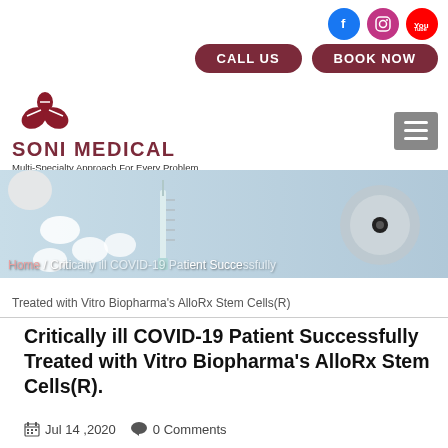[Figure (logo): Soni Medical logo with red flower/capsule icon, text SONI MEDICAL and tagline Multi-Specialty Approach For Every Problem]
[Figure (screenshot): Website header screenshot showing social media icons (Facebook, Instagram, YouTube), CALL US and BOOK NOW buttons, Soni Medical logo, hamburger menu, and medical hero image with pills, syringe, and stethoscope]
Home / Critically ill COVID-19 Patient Successfully Treated with Vitro Biopharma's AlloRx Stem Cells(R)
Critically ill COVID-19 Patient Successfully Treated with Vitro Biopharma's AlloRx Stem Cells(R).
Jul 14 ,2020   0 Comments